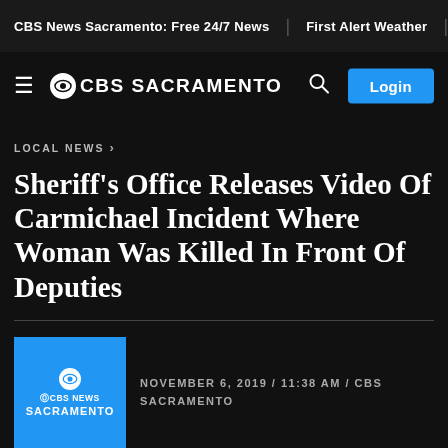CBS News Sacramento: Free 24/7 News | First Alert Weather | CBS Sacr
≡ ⊙CBS SACRAMENTO  🔍  Login
LOCAL NEWS ›
Sheriff's Office Releases Video Of Carmichael Incident Where Woman Was Killed In Front Of Deputies
NOVEMBER 6, 2019 / 11:38 AM / CBS SACRAMENTO